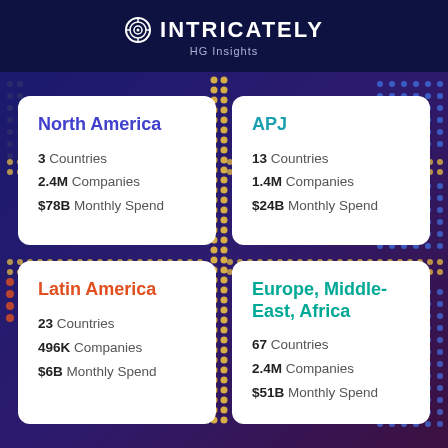[Figure (logo): Intricately HG Insights logo with circular target icon]
North America
3 Countries
2.4M Companies
$78B Monthly Spend
APJ
13 Countries
1.4M Companies
$24B Monthly Spend
Latin America
23 Countries
496K Companies
$6B Monthly Spend
Europe, Middle-East, Africa
67 Countries
2.4M Companies
$51B Monthly Spend